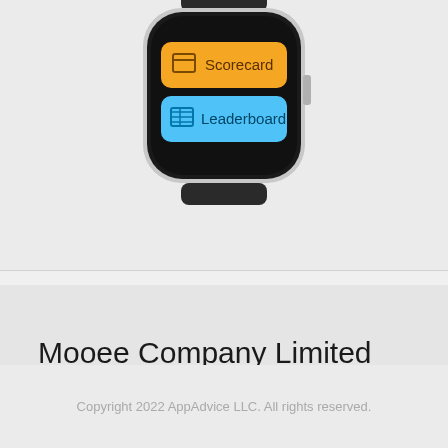[Figure (screenshot): Apple Watch screenshot showing app menu with orange 'Scorecard' button and blue 'Leaderboard' button displayed on the watch screen]
Developer
Mooee Company Limited
Copyright 2022 AppAdvice LLC. All rights reserved.